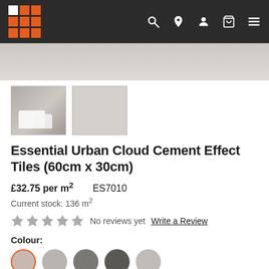[Figure (screenshot): Website navigation bar with tile retailer logo (orange grid), search, location, account, cart, and menu icons on dark background]
[Figure (photo): Main product image showing light grey cement effect tile surface]
[Figure (photo): Thumbnail 1: bathroom scene with white fixtures on grey cement tiles]
[Figure (photo): Thumbnail 2: plain light grey cement effect tile swatch]
Essential Urban Cloud Cement Effect Tiles (60cm x 30cm)
£32.75 per m²    ES7010
Current stock: 136 m²
★★★★★  No reviews yet  Write a Review
Colour:
[Figure (other): Row of circular colour swatches for tile colour variants, first swatch selected with orange border]